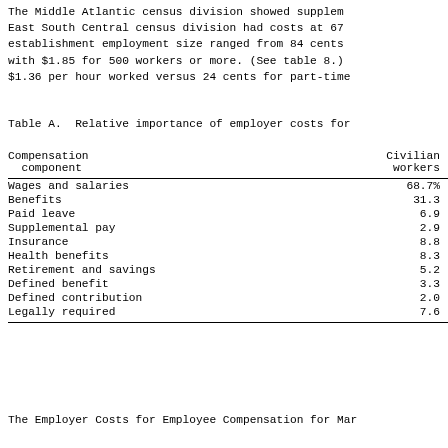The Middle Atlantic census division showed supplemental pay costs... East South Central census division had costs at 67 cents... establishment employment size ranged from 84 cents per hour worked with $1.85 for 500 workers or more. (See table 8.) $1.36 per hour worked versus 24 cents for part-time workers.
Table A.  Relative importance of employer costs for
| Compensation component | Civilian workers |
| --- | --- |
| Wages and salaries | 68.7% |
| Benefits | 31.3 |
|   Paid leave | 6.9 |
|   Supplemental pay | 2.9 |
|   Insurance | 8.8 |
|     Health benefits | 8.3 |
|   Retirement and savings | 5.2 |
|     Defined benefit | 3.3 |
|     Defined contribution | 2.0 |
|   Legally required | 7.6 |
The Employer Costs for Employee Compensation for Mar